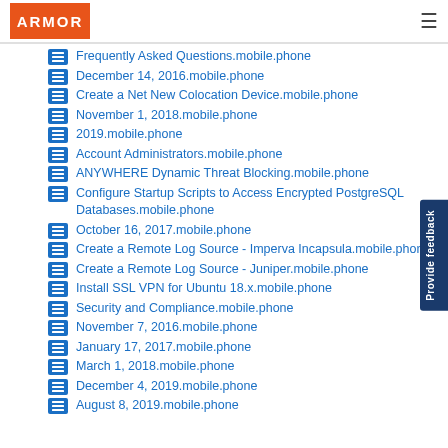ARMOR
Frequently Asked Questions.mobile.phone
December 14, 2016.mobile.phone
Create a Net New Colocation Device.mobile.phone
November 1, 2018.mobile.phone
2019.mobile.phone
Account Administrators.mobile.phone
ANYWHERE Dynamic Threat Blocking.mobile.phone
Configure Startup Scripts to Access Encrypted PostgreSQL Databases.mobile.phone
October 16, 2017.mobile.phone
Create a Remote Log Source - Imperva Incapsula.mobile.phone
Create a Remote Log Source - Juniper.mobile.phone
Install SSL VPN for Ubuntu 18.x.mobile.phone
Security and Compliance.mobile.phone
November 7, 2016.mobile.phone
January 17, 2017.mobile.phone
March 1, 2018.mobile.phone
December 4, 2019.mobile.phone
August 8, 2019.mobile.phone